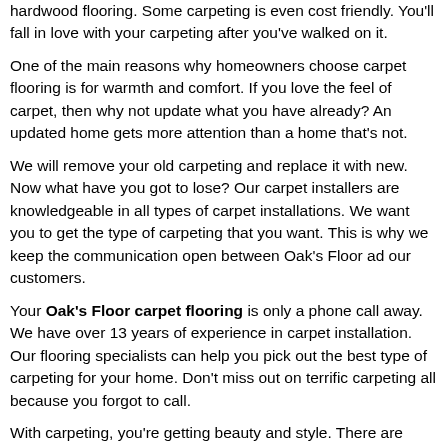hardwood flooring. Some carpeting is even cost friendly. You'll fall in love with your carpeting after you've walked on it.
One of the main reasons why homeowners choose carpet flooring is for warmth and comfort. If you love the feel of carpet, then why not update what you have already? An updated home gets more attention than a home that's not.
We will remove your old carpeting and replace it with new. Now what have you got to lose? Our carpet installers are knowledgeable in all types of carpet installations. We want you to get the type of carpeting that you want. This is why we keep the communication open between Oak's Floor ad our customers.
Your Oak's Floor carpet flooring is only a phone call away. We have over 13 years of experience in carpet installation. Our flooring specialists can help you pick out the best type of carpeting for your home. Don't miss out on terrific carpeting all because you forgot to call.
With carpeting, you're getting beauty and style. There are many different styles of carpeting that you get to chose from. Your final